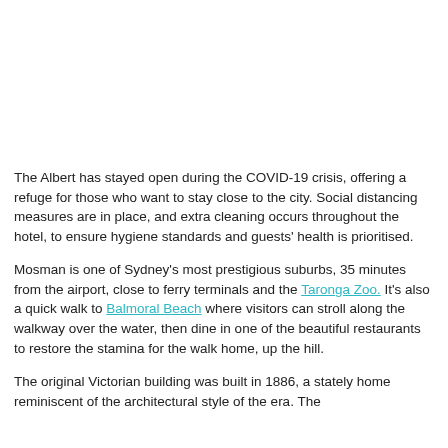[Figure (photo): Top portion of page showing a hotel or building image (white/blank area at top of visible page)]
The Albert has stayed open during the COVID-19 crisis, offering a refuge for those who want to stay close to the city. Social distancing measures are in place, and extra cleaning occurs throughout the hotel, to ensure hygiene standards and guests' health is prioritised.
Mosman is one of Sydney's most prestigious suburbs, 35 minutes from the airport, close to ferry terminals and the Taronga Zoo. It's also a quick walk to Balmoral Beach where visitors can stroll along the walkway over the water, then dine in one of the beautiful restaurants to restore the stamina for the walk home, up the hill.
The original Victorian building was built in 1886, a stately home reminiscent of the architectural style of the era. The